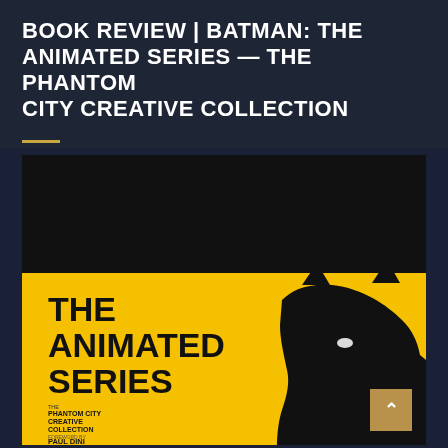BOOK REVIEW | BATMAN: THE ANIMATED SERIES — THE PHANTOM CITY CREATIVE COLLECTION
[Figure (illustration): Book cover of Batman: The Animated Series – The Phantom City Creative Collection. Bold black 'BATMAN' text on black background at top, yellow lower half with black bold text 'THE ANIMATED SERIES', silhouette of Batman's cowl, and text 'THE PHANTOM CITY CREATIVE COLLECTION' with 'FOREWORD BY PAUL DINI' at bottom left.]